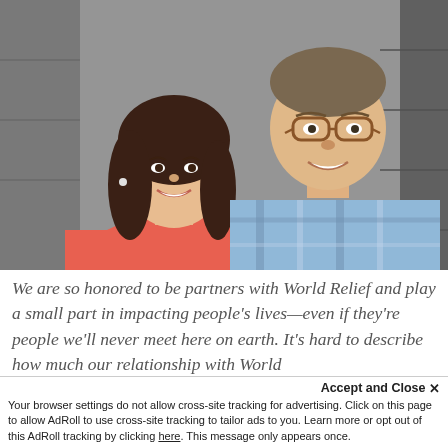[Figure (photo): A smiling couple posing together against a stone wall background. The woman is in the foreground wearing a coral/salmon sleeveless top with dark shoulder-length hair. The man stands behind her wearing a blue plaid shirt and glasses, both smiling.]
We are so honored to be partners with World Relief and play a small part in impacting people's lives—even if they're people we'll never meet here on earth. It's hard to describe how much our relationship with World...
Accept and Close ×
Your browser settings do not allow cross-site tracking for advertising. Click on this page to allow AdRoll to use cross-site tracking to tailor ads to you. Learn more or opt out of this AdRoll tracking by clicking here. This message only appears once.